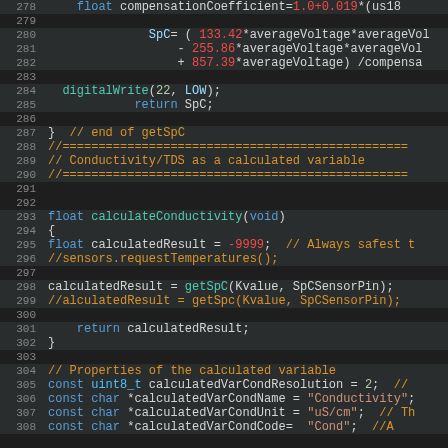[Figure (screenshot): Code editor screenshot showing Arduino/C++ source code for conductivity/TDS measurement. Lines 278-308 are visible, showing getSpC function end and calculateConductivity function with variable declarations. Dark theme code editor with syntax highlighting.]